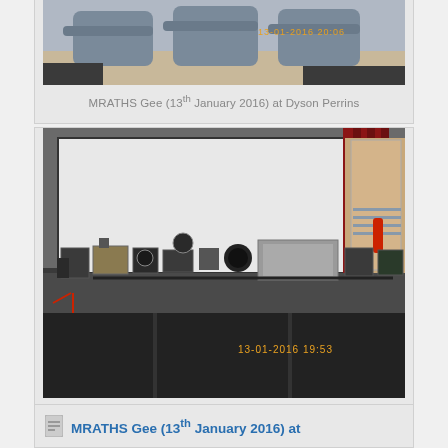[Figure (photo): Partial photo of electronic/radar equipment at Dyson Perrins, timestamp 13-01-2016 20:06 in orange]
MRATHS Gee (13th January 2016) at Dyson Perrins
[Figure (photo): Photo of vintage electronic/radar equipment on a table in a hall with a projection screen and curtains, timestamp 13-01-2016 19:53 in orange]
MRATHS Gee (13th January 2016) at Dyson Perrins
MRATHS Gee (13th January 2016) at